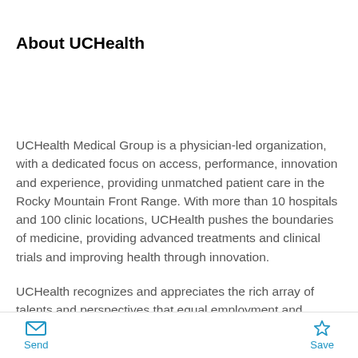About UCHealth
UCHealth Medical Group is a physician-led organization, with a dedicated focus on access, performance, innovation and experience, providing unmatched patient care in the Rocky Mountain Front Range. With more than 10 hospitals and 100 clinic locations, UCHealth pushes the boundaries of medicine, providing advanced treatments and clinical trials and improving health through innovation.
UCHealth recognizes and appreciates the rich array of talents and perspectives that equal employment and
Send  Save